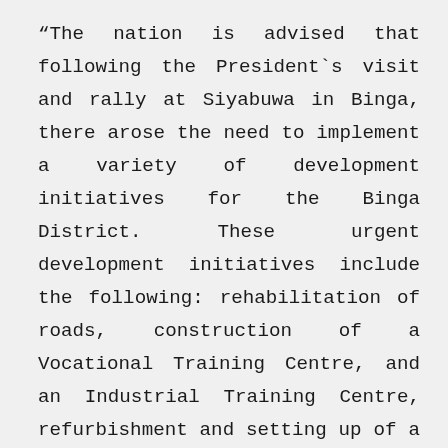“The nation is advised that following the President’s visit and rally at Siyabuwa in Binga, there arose the need to implement a variety of development initiatives for the Binga District. These urgent development initiatives include the following: rehabilitation of roads, construction of a Vocational Training Centre, and an Industrial Training Centre, refurbishment and setting up of a nursing school at Binga Hospital, and the refurbishment and operationalization of the mortuary at Binga Hospital.
“Further initiatives include increasing access to